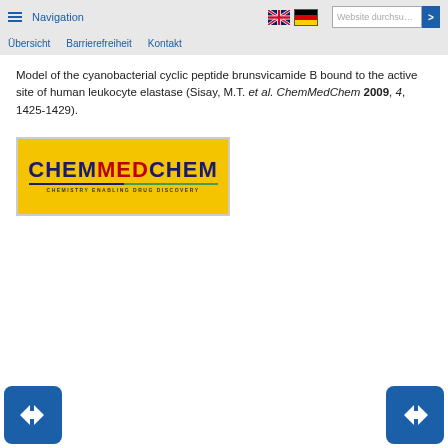Navigation | Übersicht | Barrierefreiheit | Kontakt | Website durchsuchen
Model of the cyanobacterial cyclic peptide brunsvicamide B bound to the active site of human leukocyte elastase (Sisay, M.T. et al. ChemMedChem 2009, 4, 1425-1429).
[Figure (logo): ChemMedChem journal logo on yellow background with subtitle CHEMISTRY ENABLING DRUG DISCOVERY]